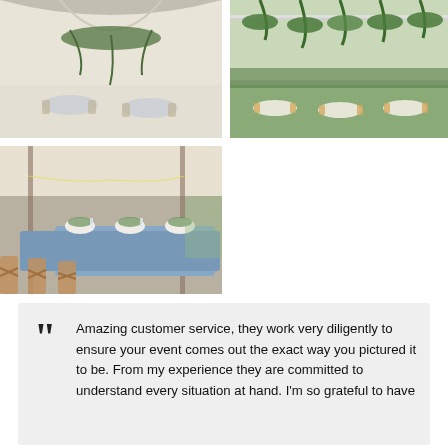[Figure (photo): Indoor wedding tent with white fabric ceiling, greenery arch, hanging floral decorations, and round tables with blue linens]
[Figure (photo): Outdoor wedding reception under a clear tent with hanging greenery and flowers, round tables with gold chiavari chairs on a lawn]
[Figure (photo): Close-up of wedding reception table setting under a tent with blue tablecloths, white floral centerpieces, and cross-back wooden chairs]
““ Amazing customer service, they work very diligently to ensure your event comes out the exact way you pictured it to be. From my experience they are committed to understand every situation at hand. I’m so grateful to have